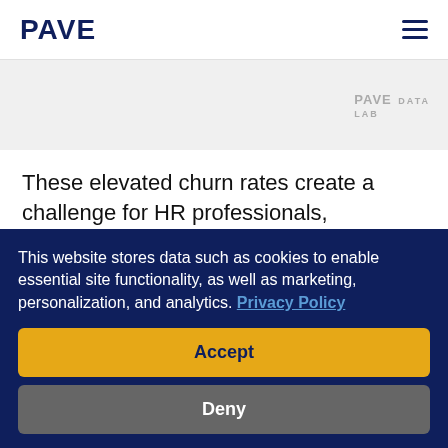PAVE
[Figure (other): Gray chart/image area with PAVE DATA LAB watermark in top-right corner]
These elevated churn rates create a challenge for HR professionals, especially those at fast-growing companies with aggressive hiring targets. Pave's benchmarking data provides real-time insights on salary trends to inform a competitive compensation strategy and support...
This website stores data such as cookies to enable essential site functionality, as well as marketing, personalization, and analytics. Privacy Policy
Accept
Deny